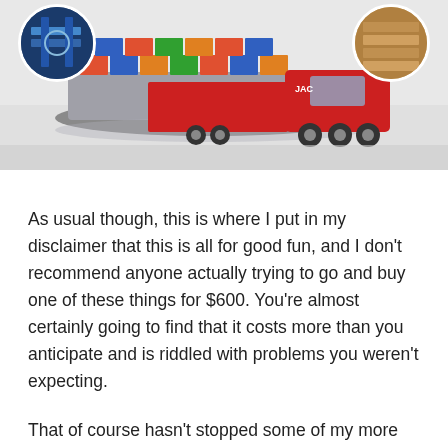[Figure (photo): A collage image showing a cargo ship loaded with colorful shipping containers, a large red JAC semi-truck, a circular inset photo in the top-left showing blue industrial machinery, and a circular inset photo in the top-right showing stacked boxes/cargo in a warehouse.]
As usual though, this is where I put in my disclaimer that this is all for good fun, and I don't recommend anyone actually trying to go and buy one of these things for $600. You're almost certainly going to find that it costs more than you anticipate and is riddled with problems you weren't expecting.
That of course hasn't stopped some of my more stubborn readers from buying the weird Alibaba things I feature here though (or finding their own), so we can all live vicariously through them instead of spending our own hard-earned dough!